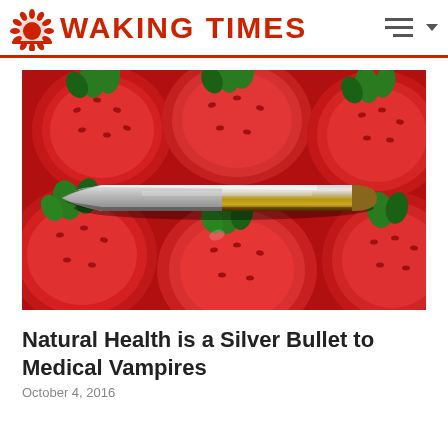WAKING TIMES
[Figure (photo): A shiny metallic silver and gold bullet resting on a bed of red strawberries]
Natural Health is a Silver Bullet to Medical Vampires
October 4, 2016